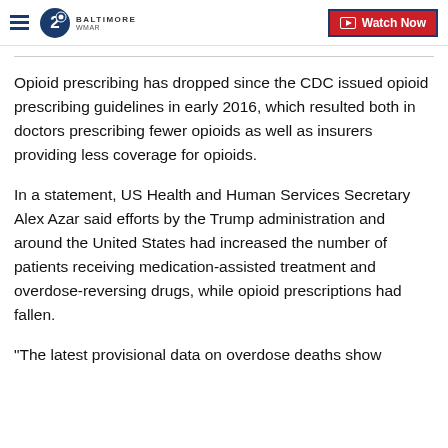WMAR Baltimore - Watch Now
Opioid prescribing has dropped since the CDC issued opioid prescribing guidelines in early 2016, which resulted both in doctors prescribing fewer opioids as well as insurers providing less coverage for opioids.
In a statement, US Health and Human Services Secretary Alex Azar said efforts by the Trump administration and around the United States had increased the number of patients receiving medication-assisted treatment and overdose-reversing drugs, while opioid prescriptions had fallen.
"The latest provisional data on overdose deaths show